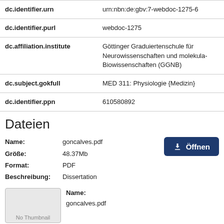| Field | Value |
| --- | --- |
| dc.identifier.urn | urn:nbn:de:gbv:7-webdoc-1275-6 |
| dc.identifier.purl | webdoc-1275 |
| dc.affiliation.institute | Göttinger Graduiertenschule für Neurowissenschaften und molekulare Biowissenschaften (GGNB) |
| dc.subject.gokfull | MED 311: Physiologie {Medizin} |
| dc.identifier.ppn | 610580892 |
Dateien
Name: goncalves.pdf
Größe: 48.37Mb
Format: PDF
Beschreibung: Dissertation
Name:
goncalves.pdf